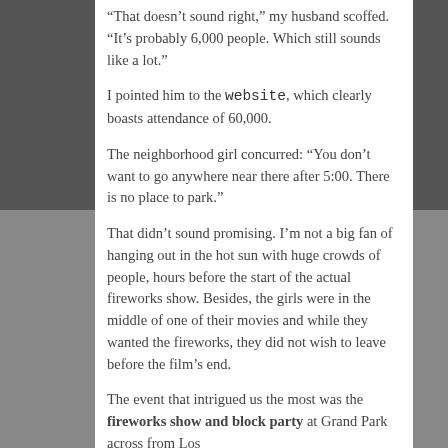“That doesn’t sound right,” my husband scoffed. “It’s probably 6,000 people. Which still sounds like a lot.”
I pointed him to the website, which clearly boasts attendance of 60,000.
The neighborhood girl concurred: “You don’t want to go anywhere near there after 5:00. There is no place to park.”
That didn’t sound promising. I’m not a big fan of hanging out in the hot sun with huge crowds of people, hours before the start of the actual fireworks show. Besides, the girls were in the middle of one of their movies and while they wanted the fireworks, they did not wish to leave before the film’s end.
The event that intrigued us the most was the fireworks show and block party at Grand Park across from Los